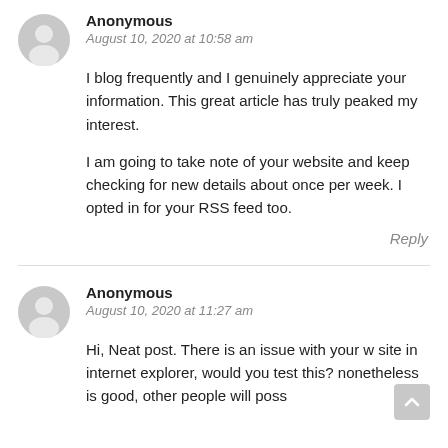[Figure (illustration): Anonymous user avatar icon (gray circle with person silhouette)]
Anonymous
August 10, 2020 at 10:58 am
I blog frequently and I genuinely appreciate your information. This great article has truly peaked my interest.
I am going to take note of your website and keep checking for new details about once per week. I opted in for your RSS feed too.
Reply
[Figure (illustration): Anonymous user avatar icon (gray circle with person silhouette)]
Anonymous
August 10, 2020 at 11:27 am
Hi, Neat post. There is an issue with your w site in internet explorer, would you test this? nonetheless is good, other people will poss